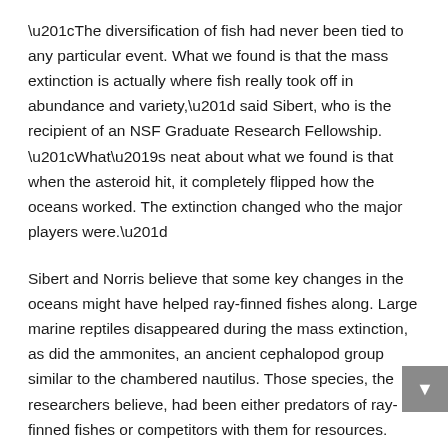“The diversification of fish had never been tied to any particular event. What we found is that the mass extinction is actually where fish really took off in abundance and variety,” said Sibert, who is the recipient of an NSF Graduate Research Fellowship. “What’s neat about what we found is that when the asteroid hit, it completely flipped how the oceans worked. The extinction changed who the major players were.”
Sibert and Norris believe that some key changes in the oceans might have helped ray-finned fishes along. Large marine reptiles disappeared during the mass extinction, as did the ammonites, an ancient cephalopod group similar to the chambered nautilus. Those species, the researchers believe, had been either predators of ray-finned fishes or competitors with them for resources.
“What we see is…” [continues below]